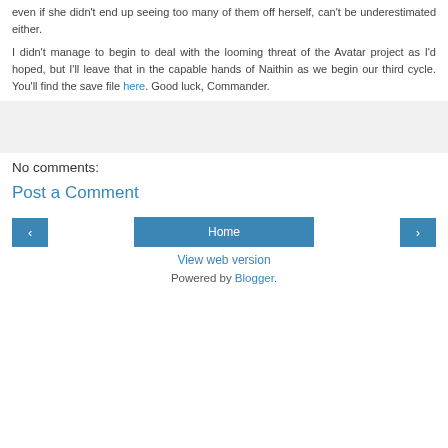even if she didn't end up seeing too many of them off herself, can't be underestimated either.
I didn't manage to begin to deal with the looming threat of the Avatar project as I'd hoped, but I'll leave that in the capable hands of Naithin as we begin our third cycle. You'll find the save file here. Good luck, Commander.
[Figure (other): Gray placeholder box]
No comments:
Post a Comment
Navigation buttons: previous (‹), Home, next (›)
View web version
Powered by Blogger.